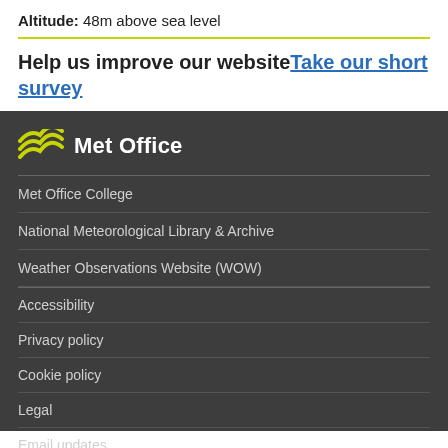Altitude: 48m above sea level
Help us improve our website Take our short survey
[Figure (logo): Met Office logo with wave icon and text 'Met Office']
Met Office College
National Meteorological Library & Archive
Weather Observations Website (WOW)
Accessibility
Privacy policy
Cookie policy
Legal
Email updates